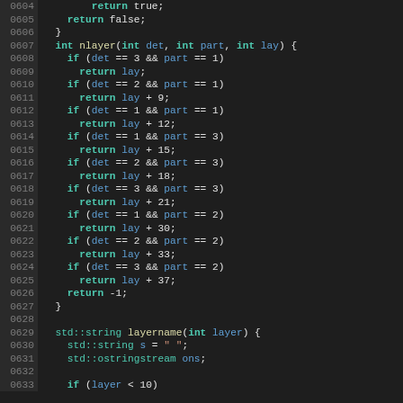Source code listing, lines 0604-0633, C++ code for nlayer and layername functions